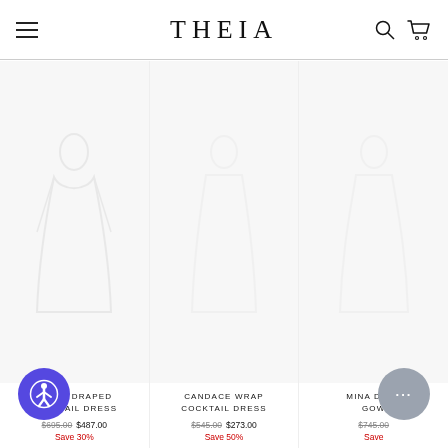THEIA
[Figure (photo): Product photo placeholder for Marin Draped Cocktail Dress - faint mannequin silhouette on white background]
MARIN DRAPED COCKTAIL DRESS
$695.00 $487.00 Save 30%
[Figure (photo): Product photo placeholder for Candace Wrap Cocktail Dress - white/blank product image]
CANDACE WRAP COCKTAIL DRESS
$545.00 $273.00 Save 50%
[Figure (photo): Product photo placeholder for Mina Draped Gown - white/blank product image, partially visible]
MINA DRAPED GOW
$745.00 Save